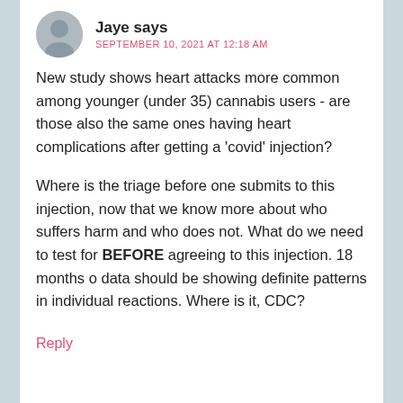Jaye says — SEPTEMBER 10, 2021 AT 12:18 AM
New study shows heart attacks more common among younger (under 35) cannabis users - are those also the same ones having heart complications after getting a 'covid' injection?
Where is the triage before one submits to this injection, now that we know more about who suffers harm and who does not. What do we need to test for BEFORE agreeing to this injection. 18 months o data should be showing definite patterns in individual reactions. Where is it, CDC?
Reply